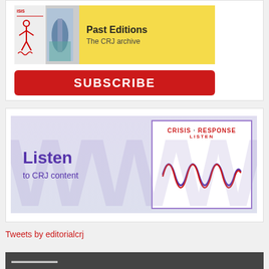[Figure (illustration): Past Editions banner showing CRJ archive magazine covers on yellow background]
[Figure (illustration): Red SUBSCRIBE button]
[Figure (illustration): Listen to CRJ content banner with Crisis Response waveform logo]
Tweets by editorialcrj
[Figure (illustration): Dark bottom strip with partial text]